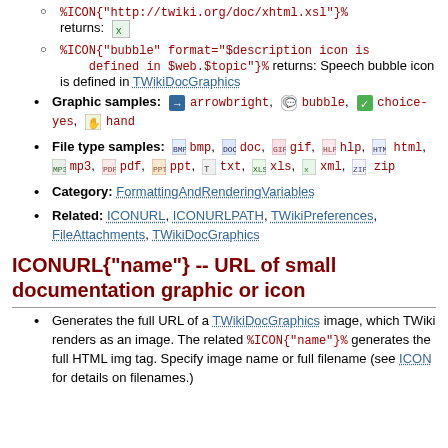%ICON{"http://twiki.org/doc/xhtml.xsl"}% returns: [icon]
%ICON{"bubble" format="$description icon is defined in $web.$topic"}% returns: Speech bubble icon is defined in TWikiDocGraphics
Graphic samples: [arrowbright icon] arrowbright, [bubble icon] bubble, [choice-yes icon] choice-yes, [hand icon] hand
File type samples: [bmp] bmp, [doc] doc, [gif] gif, [hlp] hlp, [html] html, [mp3] mp3, [pdf] pdf, [ppt] ppt, [txt] txt, [xls] xls, [xml] xml, [zip] zip
Category: FormattingAndRenderingVariables
Related: ICONURL, ICONURLPATH, TWikiPreferences, FileAttachments, TWikiDocGraphics
ICONURL{"name"} -- URL of small documentation graphic or icon
Generates the full URL of a TWikiDocGraphics image, which TWiki renders as an image. The related %ICON{"name"}% generates the full HTML img tag. Specify image name or full filename (see ICON for details on filenames.)